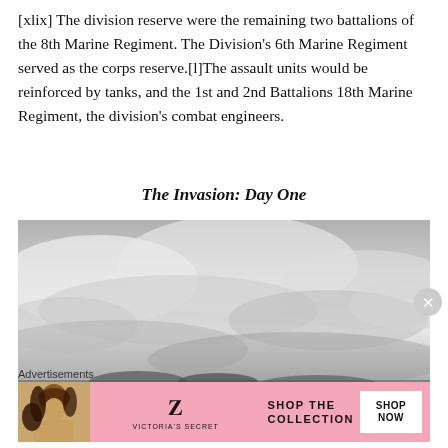[xlix] The division reserve were the remaining two battalions of the 8th Marine Regiment. The Division's 6th Marine Regiment served as the corps reserve.[l]The assault units would be reinforced by tanks, and the 1st and 2nd Battalions 18th Marine Regiment, the division's combat engineers.
The Invasion: Day One
[Figure (photo): Black and white photograph of a cloudy, overcast sky with some dark shapes barely visible at the bottom edge, giving a dramatic wartime aerial or seascape feel.]
Advertisements
[Figure (other): Victoria's Secret advertisement banner with pink background, woman portrait on left, VS logo, text 'SHOP THE COLLECTION', and a white 'SHOP NOW' button.]